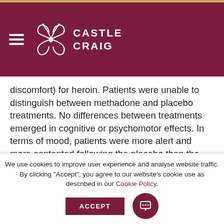Castle Craig
discomfort) for heroin. Patients were unable to distinguish between methadone and placebo treatments. No differences between treatments emerged in cognitive or psychomotor effects. In terms of mood, patients were more alert and more contented following the placebo than the following methadone.
Conclusions: Additional methadone may “prime” cravings for heroin in methadone substitution patients.
We use cookies to improve user experience and analyse website traffic. By clicking "Accept", you agree to our website's cookie use as described in our Cookie Policy.